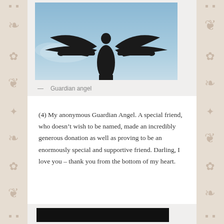[Figure (photo): Angel statue silhouette against a blue sky, wings spread wide, photographed from below looking up. The statue appears as a dark silhouette.]
— Guardian angel
(4) My anonymous Guardian Angel. A special friend, who doesn’t wish to be named, made an incredibly generous donation as well as proving to be an enormously special and supportive friend. Darling, I love you – thank you from the bottom of my heart.
[Figure (photo): Partial view of a dark image at the bottom of the page, mostly black.]